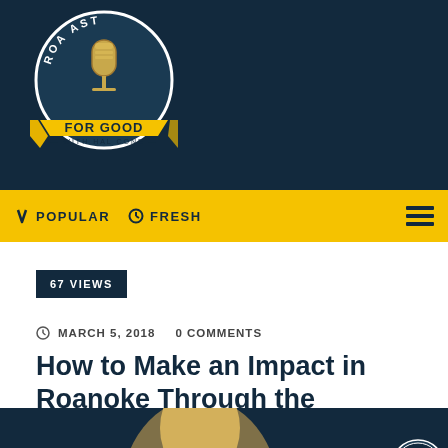[Figure (logo): Roanoke Podcast For Good with Hal Cone logo — circular dark navy badge with microphone image and yellow banner reading FOR GOOD with HAL CONE below]
POPULAR   FRESH
67 VIEWS
MARCH 5, 2018   0 COMMENTS
How to Make an Impact in Roanoke Through the Ronald McDonald House
[Figure (photo): Partial bottom image showing a person on a dark navy background with a Roanoke Podcast circular badge in the lower right corner]